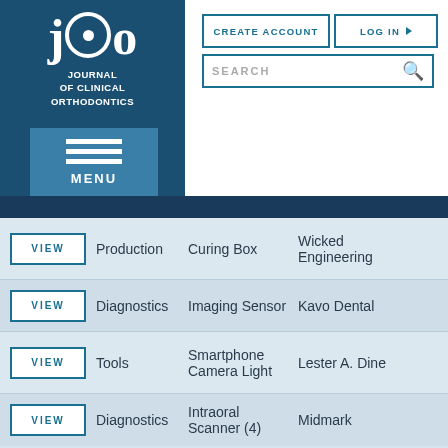[Figure (logo): Journal of Clinical Orthodontics (JCO) logo — white text on dark blue background with circular O design]
[Figure (screenshot): CREATE ACCOUNT button]
[Figure (screenshot): LOG IN button with dropdown arrow]
[Figure (screenshot): SEARCH input box with magnifier icon]
[Figure (screenshot): MENU button with three horizontal lines icon]
|  | Category | Product | Company |
| --- | --- | --- | --- |
| VIEW | Production | Curing Box | Wicked Engineering |
| VIEW | Diagnostics | Imaging Sensor | Kavo Dental |
| VIEW | Tools | Smartphone Camera Light | Lester A. Dine |
| VIEW | Diagnostics | Intraoral Scanner (4) | Midmark |